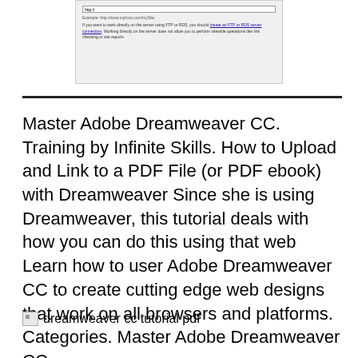[Figure (screenshot): Screenshot of a web dialog showing a URL input field with 'http://' entered, an example line 'Example: http://www.myhost.com/mysite', and informational text about working directly on a server using FTP or RDS with a link 'create an FTP or RDS server connection'.]
Master Adobe Dreamweaver CC. Training by Infinite Skills. How to Upload and Link to a PDF File (or PDF ebook) with Dreamweaver Since she is using Dreamweaver, this tutorial deals with how you can do this using that web Learn how to user Adobe Dreamweaver CC to create cutting edge web designs that work on all browsers and platforms. Categories. Master Adobe Dreamweaver CC..
[Figure (screenshot): Broken image placeholder with alt text 'dreamweaver cc tutorial pdf']